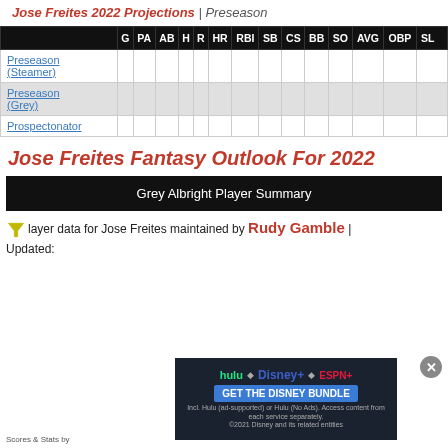Jose Freites 2022 Projections | Preseason
|  | G | PA | AB | H | R | HR | RBI | SB | CS | BB | SO | AVG | OBP | SLG |
| --- | --- | --- | --- | --- | --- | --- | --- | --- | --- | --- | --- | --- | --- | --- |
| Preseason (Steamer) |  |  |  |  |  |  |  |  |  |  |  |  |  |  |
| Preseason (Grey) |  |  |  |  |  |  |  |  |  |  |  |  |  |  |
| Prospectonator |  |  |  |  |  |  |  |  |  |  |  |  |  |  |
Jose Freites Fantasy Outlook For 2022
Grey Albright Player Summary
Player data for Jose Freites maintained by Rudy Gamble | Updated:
[Figure (infographic): Disney Bundle advertisement showing Hulu, Disney+, ESPN+ logos with GET THE DISNEY BUNDLE CTA button]